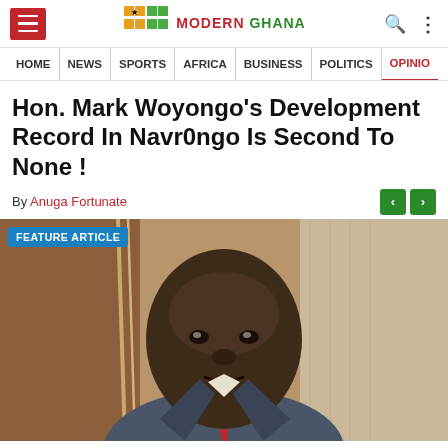Modern Ghana — navigation header with hamburger menu, logo, search and menu icons
HOME | NEWS | SPORTS | AFRICA | BUSINESS | POLITICS | OPINION
Hon. Mark Woyongo's Development Record In Navr0ngo Is Second To None !
By Anuga Fortunate
[Figure (photo): Portrait photo of Hon. Mark Woyongo, a man in a grey suit with a red tie, seated, facing the camera. A 'FEATURE ARTICLE' badge is overlaid in the top-left corner of the image.]